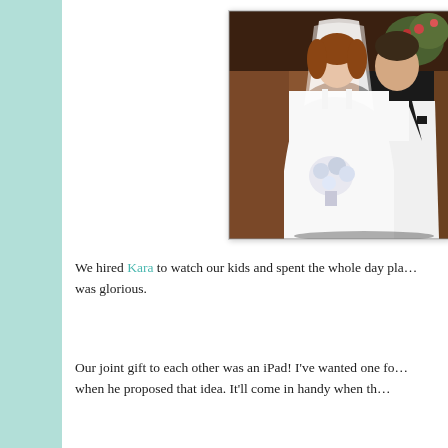[Figure (photo): Wedding photo of a bride and groom standing together. The bride wears a white wedding dress with a veil and holds a bouquet. The groom wears a white tuxedo jacket with black lapels and bow tie. They are standing in what appears to be a church or formal venue with wooden background.]
We hired Kara to watch our kids and spent the whole day pla... was glorious.
Our joint gift to each other was an iPad! I've wanted one for... when he proposed that idea. It'll come in handy when th...